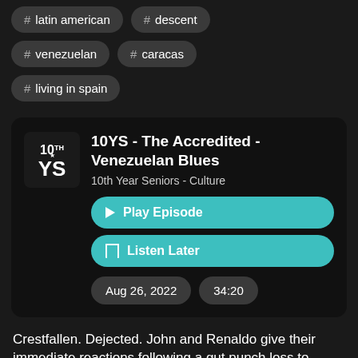# latin american  # descent
# venezuelan  # caracas
# living in spain
10YS - The Accredited - Venezuelan Blues
10th Year Seniors - Culture
▶ Play Episode
🔖 Listen Later
Aug 26, 2022   34:20
Crestfallen. Dejected. John and Renaldo give their immediate reactions following a gut punch loss to